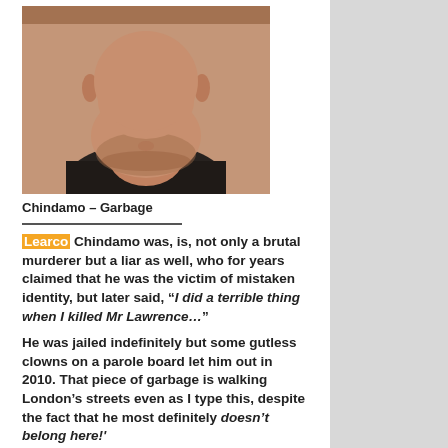[Figure (photo): Mugshot-style close-up photo of a man's face and neck, cropped from forehead down, plain background]
Chindamo – Garbage
Learco Chindamo was, is, not only a brutal murderer but a liar as well, who for years claimed that he was the victim of mistaken identity, but later said, “I did a terrible thing when I killed Mr Lawrence…”
He was jailed indefinitely but some gutless clowns on a parole board let him out in 2010. That piece of garbage is walking London’s streets even as I type this, despite the fact that he most definitely doesn’t belong here!'